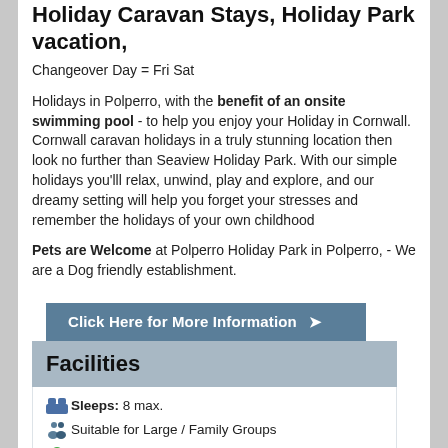Holiday Caravan Stays, Holiday Park vacation,
Changeover Day = Fri Sat
Holidays in Polperro, with the benefit of an onsite swimming pool - to help you enjoy your Holiday in Cornwall. Cornwall caravan holidays in a truly stunning location then look no further than Seaview Holiday Park. With our simple holidays you'lll relax, unwind, play and explore, and our dreamy setting will help you forget your stresses and remember the holidays of your own childhood
Pets are Welcome at Polperro Holiday Park in Polperro, - We are a Dog friendly establishment.
Click Here for More Information →
Facilities
Sleeps: 8 max.
Suitable for Large / Family Groups
Location: Polperro,
Nearest Beach: 0-1 mile
Online Availability